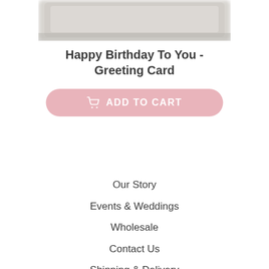[Figure (photo): Blurred/cropped image of a greeting card product at the top of the page]
Happy Birthday To You - Greeting Card
[Figure (other): Pink 'ADD TO CART' button with shopping cart icon]
Our Story
Events & Weddings
Wholesale
Contact Us
Shipping & Delivery
FAQ
Terms of Service
Refund policy
Scent Glossary